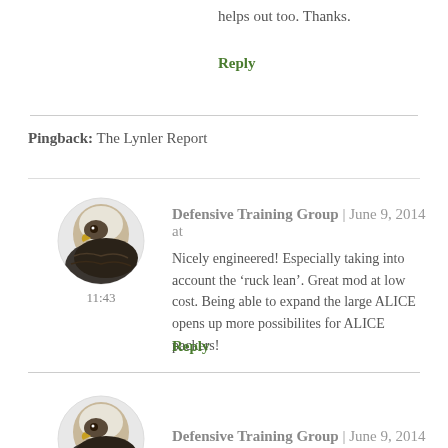helps out too. Thanks.
Reply
Pingback: The Lynler Report
Defensive Training Group | June 9, 2014 at 11:43
Nicely engineered! Especially taking into account the ‘ruck lean’. Great mod at low cost. Being able to expand the large ALICE opens up more possibilites for ALICE packers!
Reply
Defensive Training Group | June 9, 2014 at